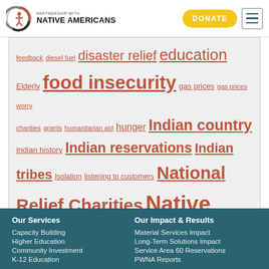Partnership with Native Americans — header with Donate button and menu
[Figure (infographic): Tag cloud with hyperlinked terms related to Native American charity topics, rendered in varying font sizes in brown/rust color on light gray background. Terms include: feedback, diesel fuel, disaster relief, education, Elderly, food insecurity, gas prices, gas prices worry, charities, grants, humanitarian aid, hunger, Indian country, Indian history, Indian reservations, Indian tribes, Isolation, listening to customers, National Relief Charities, Native American, Native American charities, Navajo Relief Fund, nonprofit effectiveness, nonprofit impact, nonprofit outcomes, Northern Cheyenne Tribe, Peter Drucker, Plains tribes, poverty, public education, scholarships, school supplies, self determination, St. Labre Indian School, Sustainability, sustainable, tribal, tribal programs]
Our Services: Capacity Building, Higher Education, Community Investment, K-12 Education | Our Impact & Results: Material Services Impact, Long-Term Solutions Impact, Service Area 60 Reservations, PWNA Reports